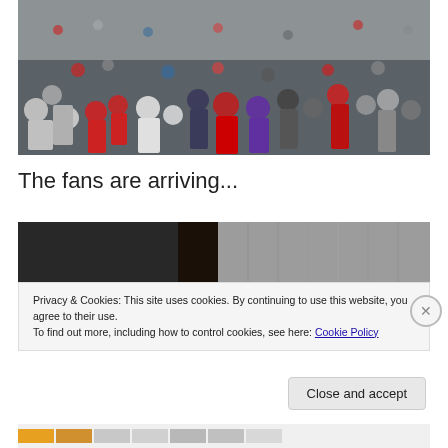[Figure (photo): Overhead/elevated view of a large crowd of people at an outdoor event, many wearing rain gear in red, blue, and white colors. Overcast weather.]
The fans are arriving...
[Figure (photo): Dark image showing what appears to be a curtain or stage backdrop with dim lighting.]
Privacy & Cookies: This site uses cookies. By continuing to use this website, you agree to their use.
To find out more, including how to control cookies, see here: Cookie Policy
Close and accept